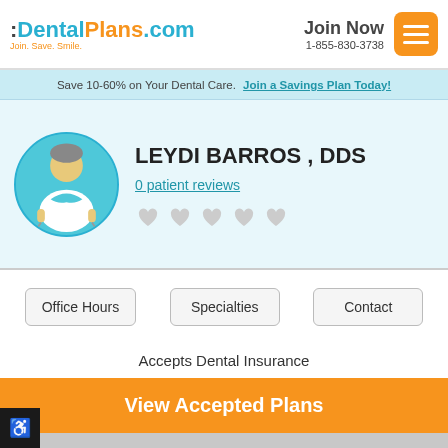DentalPlans.com - Join. Save. Smile. | Join Now 1-855-830-3738
Save 10-60% on Your Dental Care. Join a Savings Plan Today!
LEYDI BARROS , DDS
0 patient reviews
Office Hours | Specialties | Contact
Accepts Dental Insurance
View Accepted Plans